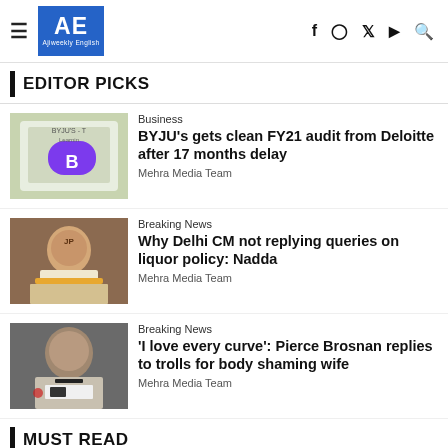AE Ajiweekly English — navigation header with social icons
EDITOR PICKS
[Figure (photo): BYJU's app on a smartphone screen showing BYJU's Learning logo]
Business
BYJU's gets clean FY21 audit from Deloitte after 17 months delay
Mehra Media Team
[Figure (photo): Man in white speaking at podium with floral decoration]
Breaking News
Why Delhi CM not replying queries on liquor policy: Nadda
Mehra Media Team
[Figure (photo): Pierce Brosnan portrait photo in suit and tie]
Breaking News
'I love every curve': Pierce Brosnan replies to trolls for body shaming wife
Mehra Media Team
MUST READ